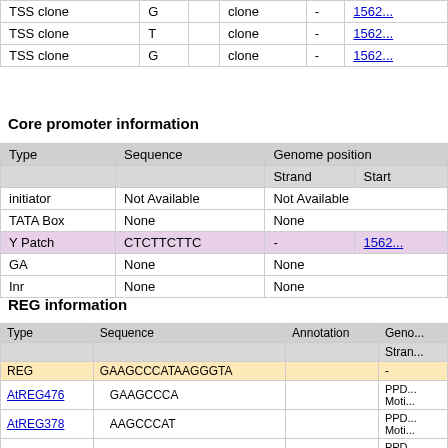|  |  |  |  |  |
| --- | --- | --- | --- | --- |
| TSS clone | G | clone | - | 1562... |
| TSS clone | T | clone | - | 1562... |
| TSS clone | G | clone | - | 1562... |
Core promoter information
| Type | Sequence | Genome position |  |  |
| --- | --- | --- | --- | --- |
|  |  | Strand | Start |  |
| initiator | Not Available | Not Available |  |  |
| TATA Box | None | None |  |  |
| Y Patch | CTCTTCTTC | - | 1562... |  |
| GA | None | None |  |  |
| Inr | None | None |  |  |
REG information
| Type | Sequence | Annotation | Geno... | Stran... |
| --- | --- | --- | --- | --- |
| REG | GAAGCCCATAAGGGTA |  | - |  |
| AtREG476 | GAAGCCCA |  | PPD... Moti... |  |
| AtREG378 | AAGCCCAT |  | PPD... Moti... |  |
| AtREG477 | AGCCCATA |  | PPD... Moti... |  |
| AtREG394 | GCCCATAA |  | PPD... Moti... |  |
| AtREG371 | TAAGGGTA |  | PPD... |  |